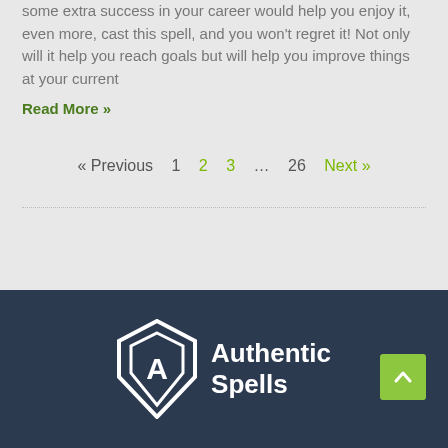some extra success in your career would help you enjoy it, even more, cast this spell, and you won't regret it! Not only will it help you reach goals but will help you improve things at your current
Read More »
« Previous  1  2  3  …  26  Next »
[Figure (logo): Authentic Spells logo with diamond/shield icon and white text on dark navy background]